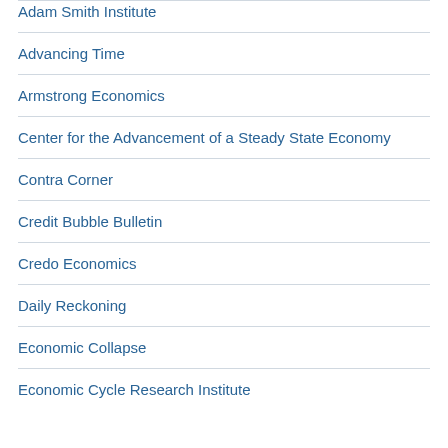Adam Smith Institute
Advancing Time
Armstrong Economics
Center for the Advancement of a Steady State Economy
Contra Corner
Credit Bubble Bulletin
Credo Economics
Daily Reckoning
Economic Collapse
Economic Cycle Research Institute